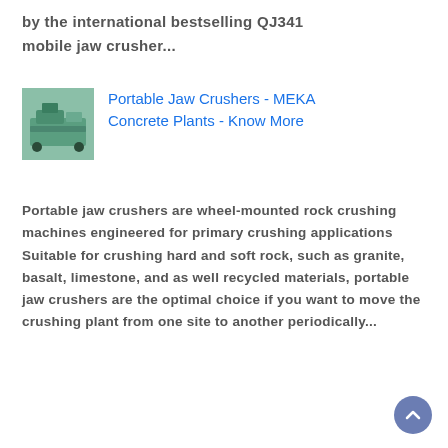by the international bestselling QJ341 mobile jaw crusher...
[Figure (photo): Thumbnail photo of a teal/green portable jaw crusher machine outdoors]
Portable Jaw Crushers - MEKA Concrete Plants - Know More
Portable jaw crushers are wheel-mounted rock crushing machines engineered for primary crushing applications Suitable for crushing hard and soft rock, such as granite, basalt, limestone, and as well recycled materials, portable jaw crushers are the optimal choice if you want to move the crushing plant from one site to another periodically...